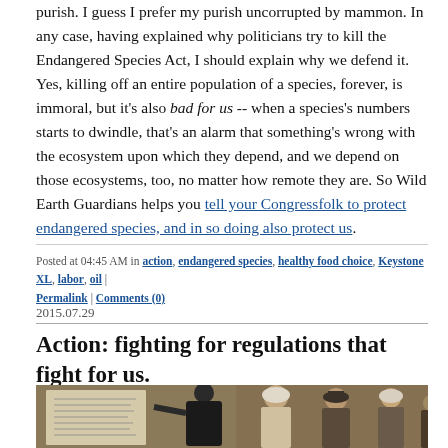purish. I guess I prefer my purish uncorrupted by mammon. In any case, having explained why politicians try to kill the Endangered Species Act, I should explain why we defend it. Yes, killing off an entire population of a species, forever, is immoral, but it's also bad for us -- when a species's numbers starts to dwindle, that's an alarm that something's wrong with the ecosystem upon which they depend, and we depend on those ecosystems, too, no matter how remote they are. So Wild Earth Guardians helps you tell your Congressfolk to protect endangered species, and in so doing also protect us.
Posted at 04:45 AM in action, endangered species, healthy food choice, Keystone XL, labor, oil | Permalink | Comments (0)
2015.07.29
Action: fighting for regulations that fight for us.
[Figure (photo): Historical painting of a monk or scholar posting a document on a church wall, with onlookers in the background.]